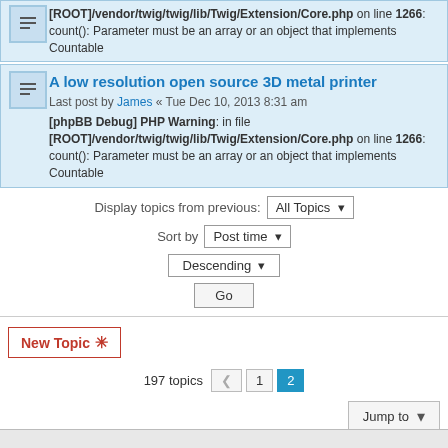[ROOT]/vendor/twig/twig/lib/Twig/Extension/Core.php on line 1266: count(): Parameter must be an array or an object that implements Countable
A low resolution open source 3D metal printer
Last post by James « Tue Dec 10, 2013 8:31 am
[phpBB Debug] PHP Warning: in file [ROOT]/vendor/twig/twig/lib/Twig/Extension/Core.php on line 1266: count(): Parameter must be an array or an object that implements Countable
Display topics from previous: All Topics
Sort by Post time
Descending
Go
New Topic
197 topics  1  2
Jump to
FORUM PERMISSIONS
You cannot post new topics in this forum
You cannot reply to topics in this forum
You cannot edit your posts in this forum
You cannot delete your posts in this forum
You cannot post attachments in this forum